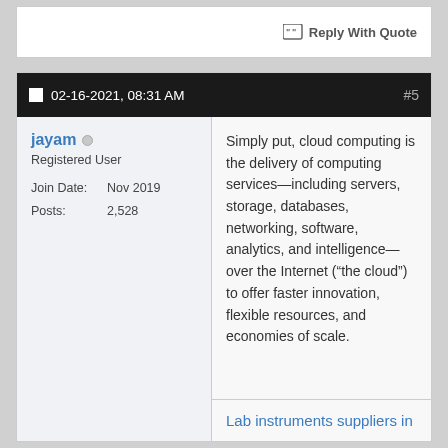Reply With Quote
02-16-2021, 08:31 AM  #5
jayam
Registered User
Join Date: Nov 2019
Posts: 2,528
Simply put, cloud computing is the delivery of computing services—including servers, storage, databases, networking, software, analytics, and intelligence—over the Internet (“the cloud”) to offer faster innovation, flexible resources, and economies of scale.
Lab instruments suppliers in